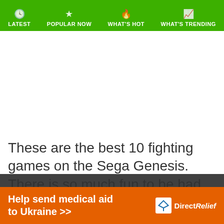LATEST   POPULAR NOW   WHAT'S HOT   WHAT'S TRENDING
[Figure (other): Advertisement / blank white area placeholder]
These are the best 10 fighting games on the Sega Genesis. There is so much fun to be had here, If you are interested in the genre, we recommend them all
We use cookies to ensure that we give you the best experience on our website. If you continue to use this site we will assume that you are happy with it.
Help send medical aid to Ukraine >>